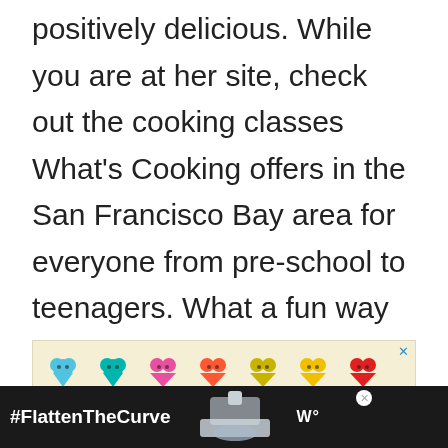positively delicious. While you are at her site, check out the cooking classes What's Cooking offers in the San Francisco Bay area for everyone from pre-school to teenagers. What a fun way to teach your kids how to cook!
[Figure (screenshot): Advertisement banner with colorful heart emojis on a light yellow background with a close X button]
[Figure (screenshot): Bottom banner ad showing #FlattenTheCurve with handwashing image and a W logo on dark background]